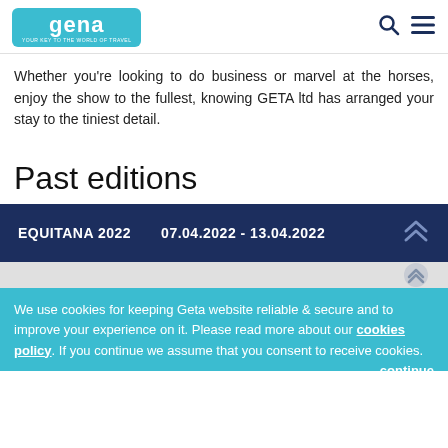GETA - YOUR KEY TO THE WORLD OF TRAVEL
Whether you're looking to do business or marvel at the horses, enjoy the show to the fullest, knowing GETA ltd has arranged your stay to the tiniest detail.
Past editions
| Event | Dates |
| --- | --- |
| EQUITANA 2022 | 07.04.2022 - 13.04.2022 |
We use cookies for keeping Geta website reliable & secure and to improve your experience on it. Please read more about our cookies policy. If you continue we assume that you consent to receive cookies. continue